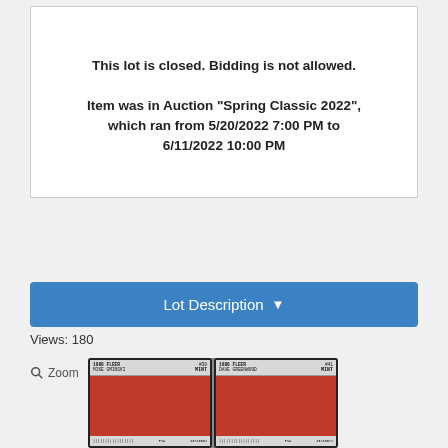This lot is closed. Bidding is not allowed.
Item was in Auction "Spring Classic 2022", which ran from 5/20/2022 7:00 PM to 6/11/2022 10:00 PM
Lot Description ▾
Views: 180
[Figure (photo): Two PSA-graded basketball cards in protective cases: 1986 Fleer Mike Gminski #39 Mint 9 and 1986 Fleer Dave Greenwood #41 Mint 9, with red card designs and barcode labels.]